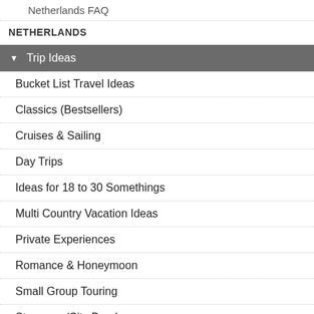Netherlands FAQ
NETHERLANDS
▾ Trip Ideas
Bucket List Travel Ideas
Classics (Bestsellers)
Cruises & Sailing
Day Trips
Ideas for 18 to 30 Somethings
Multi Country Vacation Ideas
Private Experiences
Romance & Honeymoon
Small Group Touring
Stopovers/City Breaks
Tailor-made Travel Ideas
Vacation Packages with Airfare
▾ Cities
Amsterdam